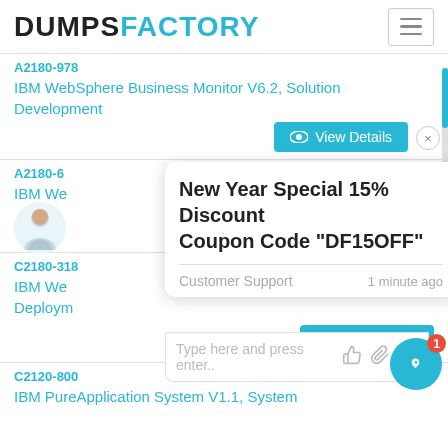DUMPSFACTORY
IBM WebSphere Business Monitor V6.2, Solution Development
[Figure (screenshot): View Details button with close X]
A2180-6 IBM We
[Figure (infographic): Chat popup with New Year Special 15% Discount Coupon Code DF15OFF, Customer Support, 1 minute ago, and type input bar]
C2180-318 IBM We Deploym
[Figure (screenshot): View Details button]
C2120-800 IBM PureApplication System V1.1, System